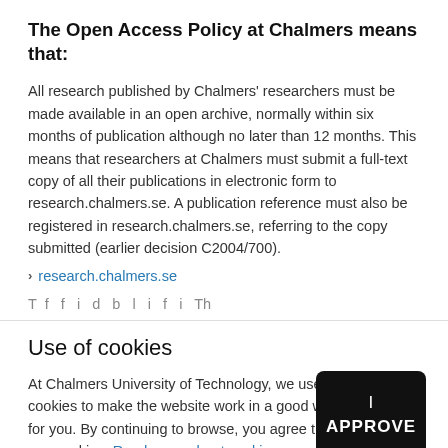The Open Access Policy at Chalmers means that:
All research published by Chalmers' researchers must be made available in an open archive, normally within six months of publication although no later than 12 months. This means that researchers at Chalmers must submit a full-text copy of all their publications in electronic form to research.chalmers.se. A publication reference must also be registered in research.chalmers.se, referring to the copy submitted (earlier decision C2004/700).
› research.chalmers.se
T... f... f... i... d... b... l... i... f... i... Th...
Use of cookies
At Chalmers University of Technology, we use cookies to make the website work in a good way for you. By continuing to browse, you agree that we use cookies. Read more about cookies.